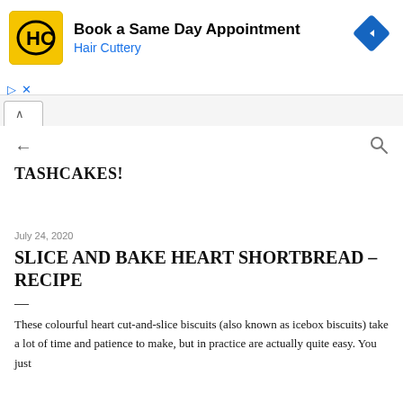[Figure (other): Hair Cuttery advertisement banner: Book a Same Day Appointment with Hair Cuttery logo and navigation arrow icon]
TASHCAKES!
July 24, 2020
SLICE AND BAKE HEART SHORTBREAD – RECIPE
—
These colourful heart cut-and-slice biscuits (also known as icebox biscuits) take a lot of time and patience to make, but in practice are actually quite easy. You just